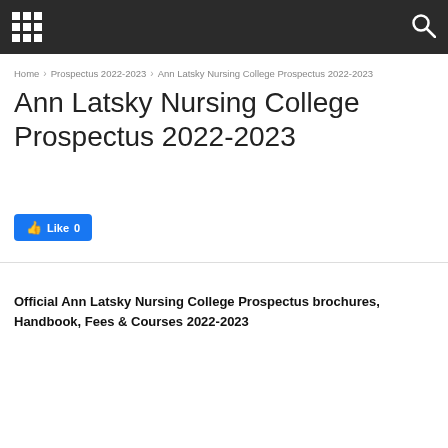Ann Latsky Nursing College Prospectus 2022-2023
Home › Prospectus 2022-2023 › Ann Latsky Nursing College Prospectus 2022-2023
Ann Latsky Nursing College Prospectus 2022-2023
Like 0
Official Ann Latsky Nursing College Prospectus brochures, Handbook, Fees & Courses 2022-2023